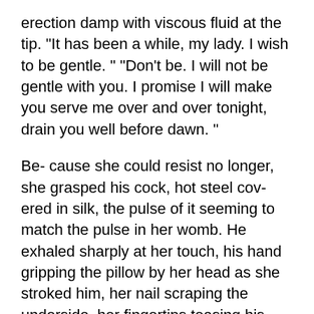erection damp with viscous fluid at the tip. "It has been a while, my lady. I wish to be gentle. " "Don't be. I will not be gentle with you. I promise I will make you serve me over and over tonight, drain you well before dawn. "
Be- cause she could resist no longer, she grasped his cock, hot steel cov- ered in silk, the pulse of it seeming to match the pulse in her womb. He exhaled sharply at her touch, his hand gripping the pillow by her head as she stroked him, her nail scraping the underside, her fingertips teasing his balls. Gods, but he was a finely equipped man. His